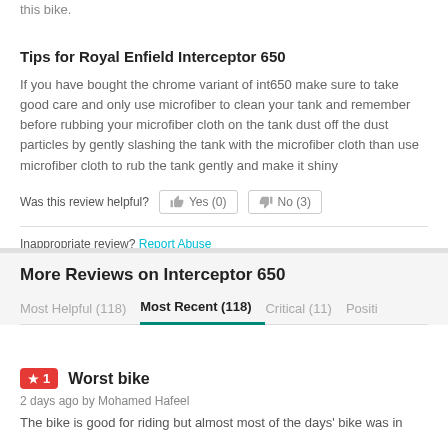this bike.
Tips for Royal Enfield Interceptor 650
If you have bought the chrome variant of int650 make sure to take good care and only use microfiber to clean your tank and remember before rubbing your microfiber cloth on the tank dust off the dust particles by gently slashing the tank with the microfiber cloth than use microfiber cloth to rub the tank gently and make it shiny
Was this review helpful? Yes (0) No (3)
Inappropriate review? Report Abuse
More Reviews on Interceptor 650
Most Helpful (118)  Most Recent (118)  Critical (11)  Positi...
★1  Worst bike
2 days ago by Mohamed Hafeel
The bike is good for riding but almost most of the days' bike was in